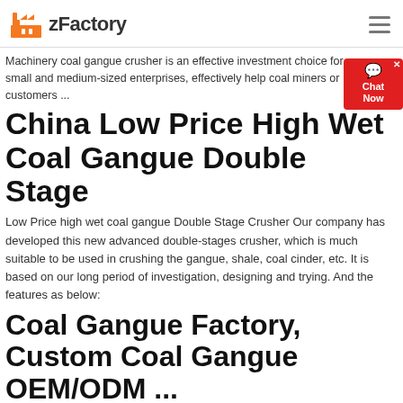zFactory
Machinery coal gangue crusher is an effective investment choice for small and medium-sized enterprises, effectively help coal miners or customers ...
China Low Price High Wet Coal Gangue Double Stage
Low Price high wet coal gangue Double Stage Crusher Our company has developed this new advanced double-stages crusher, which is much suitable to be used in crushing the gangue, shale, coal cinder, etc. It is based on our long period of investigation, designing and trying. And the features as below:
Coal Gangue Factory, Custom Coal Gangue OEM/ODM ...
Modle 500 Small Slag/Gangue Low Price of Stone Crusher Machine Compound Crusher for Sale. Modle 500 Small Slag/Gangue Low Price of